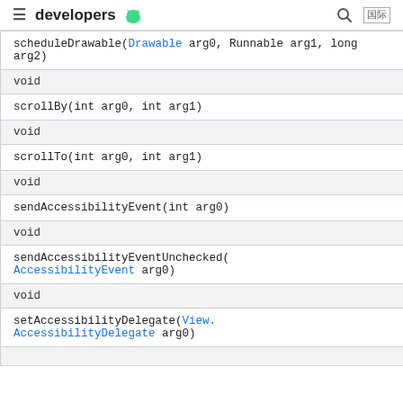developers [android logo]
| scheduleDrawable(Drawable arg0, Runnable arg1, long arg2) |
| void |
| scrollBy(int arg0, int arg1) |
| void |
| scrollTo(int arg0, int arg1) |
| void |
| sendAccessibilityEvent(int arg0) |
| void |
| sendAccessibilityEventUnchecked(AccessibilityEvent arg0) |
| void |
| setAccessibilityDelegate(View.AccessibilityDelegate arg0) |